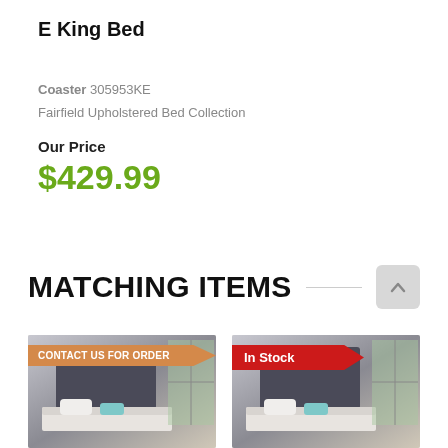E King Bed
Coaster 305953KE
Fairfield Upholstered Bed Collection
Our Price
$429.99
MATCHING ITEMS
[Figure (photo): Upholstered bed product photo with 'CONTACT US FOR ORDER' badge]
[Figure (photo): Upholstered bed product photo with 'In Stock' badge]